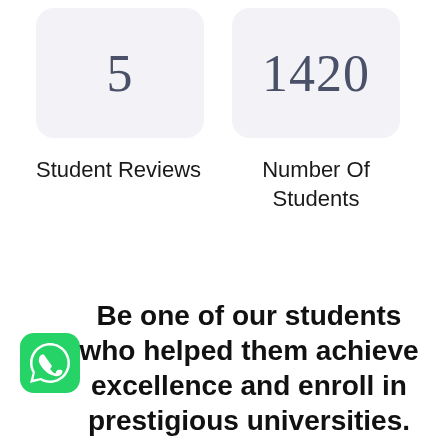5
1420
Student Reviews
Number Of Students
Be one of our students who helped them achieve excellence and enroll in prestigious universities.
[Figure (logo): WhatsApp green icon in bottom left corner]